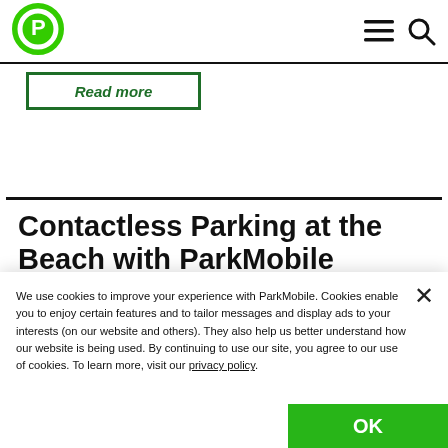[Figure (logo): ParkMobile green circular logo with white P icon]
ParkMobile navigation bar with logo, hamburger menu and search icon
Read more
Contactless Parking at the Beach with ParkMobile
We use cookies to improve your experience with ParkMobile. Cookies enable you to enjoy certain features and to tailor messages and display ads to your interests (on our website and others). They also help us better understand how our website is being used. By continuing to use our site, you agree to our use of cookies. To learn more, visit our privacy policy.